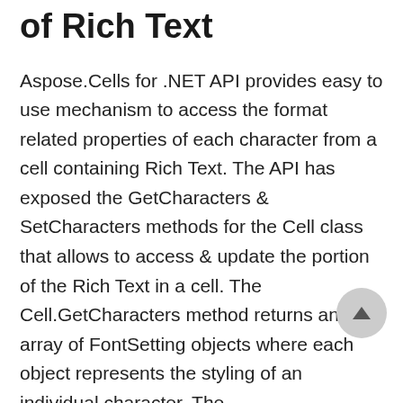of Rich Text
Aspose.Cells for .NET API provides easy to use mechanism to access the format related properties of each character from a cell containing Rich Text. The API has exposed the GetCharacters & SetCharacters methods for the Cell class that allows to access & update the portion of the Rich Text in a cell. The Cell.GetCharacters method returns an array of FontSetting objects where each object represents the styling of an individual character. The Cell.SetCharacters method also accepts an array of FontSetting objects to set the styling for individual characters of a cell.
The following sample code explains the usage of